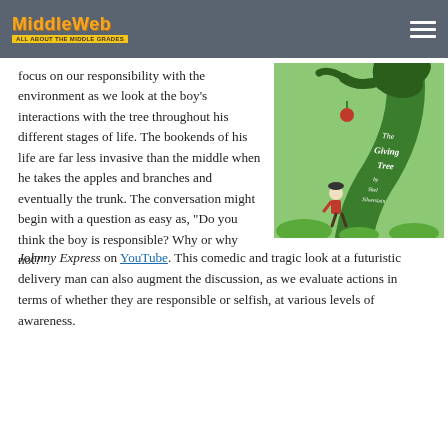MiddleWeb
focus on our responsibility with the environment as we look at the boy's interactions with the tree throughout his different stages of life. The bookends of his life are far less invasive than the middle when he takes the apples and branches and eventually the trunk. The conversation might begin with a question as easy as, “Do you think the boy is responsible? Why or why not?”
[Figure (illustration): Book cover of 'The Giving Tree' by Shel Silverstein showing a green tree arching over a small boy in red, with an apple falling]
Johnny Express on YouTube. This comedic and tragic look at a futuristic delivery man can also augment the discussion, as we evaluate actions in terms of whether they are responsible or selfish, at various levels of awareness.